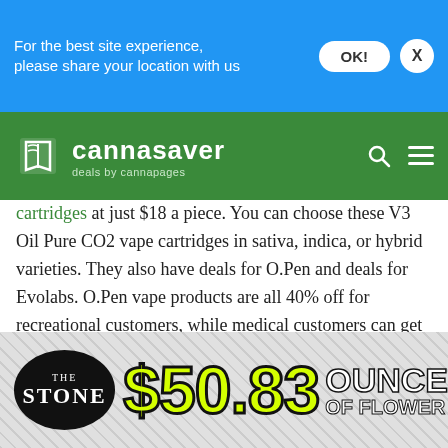For the best site experience, please share your location with us
[Figure (logo): Cannasaver deals by cannapages logo on green header background]
cartridges at just $18 a piece. You can choose these V3 Oil Pure CO2 vape cartridges in sativa, indica, or hybrid varieties. They also have deals for O.Pen and deals for Evolabs. O.Pen vape products are all 40% off for recreational customers, while medical customers can get a 20% off discount on Evolabs Chroma cartridges, refills, and iHits with the CannaSaver Evolabs coupon. To get the deals, you can simply display the CannaSaver coupons on your phone at time of purchase, or print them up ahead of
[Figure (infographic): The Stone dispensary advertisement: $50.83 OUNCE OF FLOWER]